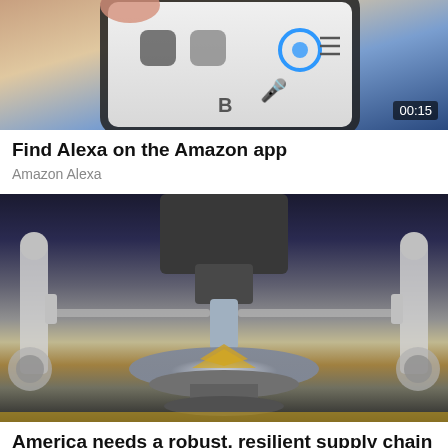[Figure (screenshot): Smartphone screen showing Amazon app with Alexa interface, with a timer badge showing 00:15]
Find Alexa on the Amazon app
Amazon Alexa
[Figure (photo): Close-up of semiconductor manufacturing equipment probing a silicon wafer, with mechanical arms and a disk-shaped wafer with gold patterns]
America needs a robust, resilient supply chain for semiconductors
Qualcomm on Defense News
[Figure (screenshot): Dark background with white italic text beginning with a quotation mark and the words 'If Apple had a']